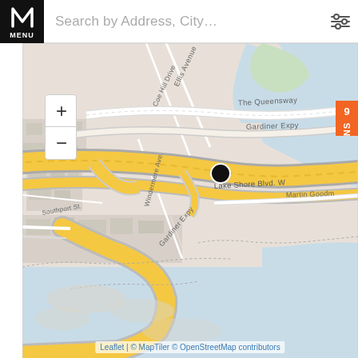[Figure (map): Street map showing Gardiner Expressway and Lake Shore Blvd W area near Toronto waterfront, with roads including The Queensway, Ellis Avenue, Coe Hill Drive, Windermere Ave, Southport St, Martin Goodman Trail. A black location pin marker is visible on the expressway. Map rendered by Leaflet/MapTiler/OpenStreetMap.]
Leaflet | © MapTiler © OpenStreetMap contributors